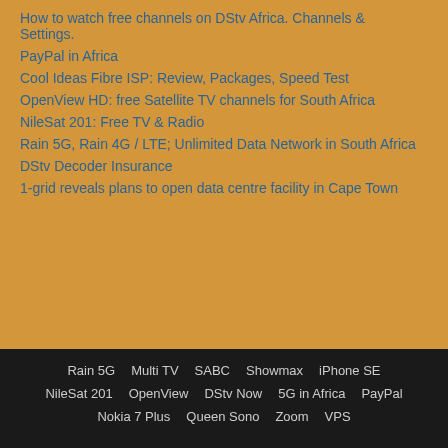How to watch free channels on DStv Africa. Channels & Settings.
PayPal in Africa
Cool Ideas Fibre ISP: Review, Packages, Speed Test
OpenView HD: free Satellite TV channels for South Africa
NileSat 201: Free TV & Radio
Rain 5G, Rain 4G / LTE; Unlimited Data Network in South Africa
DStv Decoder Insurance
1-grid reveals plans to open data centre facility in Cape Town
Rain 5G  Multi TV  SABC  Showmax  iPhone SE  NileSat 201  OpenView  DStv Now  5G in Africa  PayPal  Nokia 7 Plus  Queen Sono  Zoom  VPS